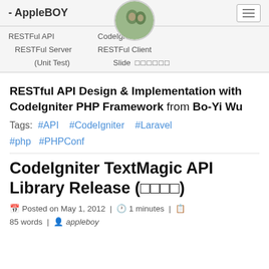- AppleBOY
RESTFul API   CodeIgniter
  RESTFul Server       RESTFul Client
          (Unit Test)                 Slide  [][][][][][]
RESTful API Design & Implementation with CodeIgniter PHP Framework from Bo-Yi Wu
Tags:  #API    #CodeIgniter    #Laravel  #php   #PHPConf
CodeIgniter TextMagic API Library Release (□□□□)
Posted on May 1, 2012  |  1 minutes  |
85 words  |  appleboy